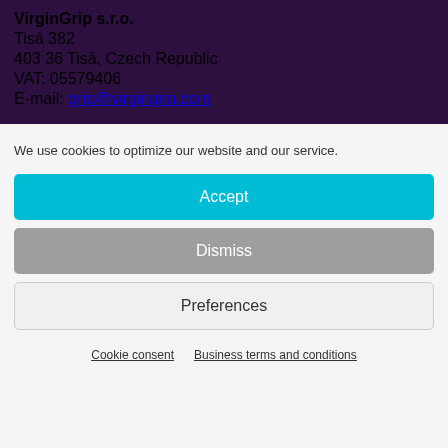VirginGrip s.r.o.
Tisá 382
403 36 Tisá, Czech Republic
VAT: 05579406
E-mail: grip@virgingrip.com
We use cookies to optimize our website and our service.
Accept
Dismiss
Preferences
Cookie consent   Business terms and conditions